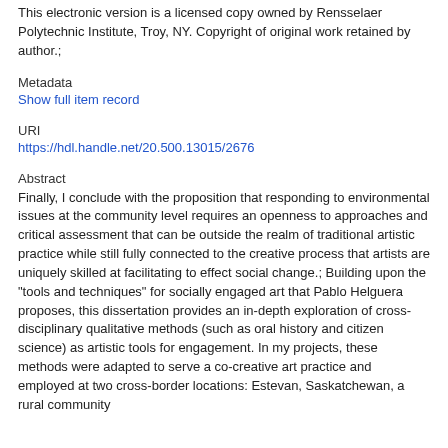This electronic version is a licensed copy owned by Rensselaer Polytechnic Institute, Troy, NY. Copyright of original work retained by author.;
Metadata
Show full item record
URI
https://hdl.handle.net/20.500.13015/2676
Abstract
Finally, I conclude with the proposition that responding to environmental issues at the community level requires an openness to approaches and critical assessment that can be outside the realm of traditional artistic practice while still fully connected to the creative process that artists are uniquely skilled at facilitating to effect social change.; Building upon the "tools and techniques" for socially engaged art that Pablo Helguera proposes, this dissertation provides an in-depth exploration of cross-disciplinary qualitative methods (such as oral history and citizen science) as artistic tools for engagement. In my projects, these methods were adapted to serve a co-creative art practice and employed at two cross-border locations: Estevan, Saskatchewan, a rural community